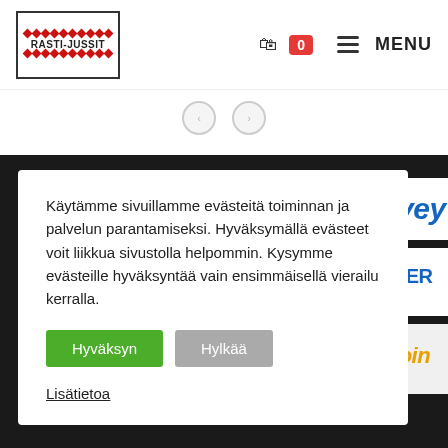[Figure (logo): Rasti-Jussit logo with red diamonds and bold text in a bordered box]
[Figure (infographic): Navigation bar icons: shopping cart with badge showing 0, hamburger menu icon, MENU label]
Käytämme sivuillamme evästeitä toiminnan ja palvelun parantamiseksi. Hyväksymällä evästeet voit liikkua sivustolla helpommin. Kysymme evästeille hyväksyntää vain ensimmäisellä vierailu kerralla.
Hyväksyn
Hylkää
Lisätietoa
[Figure (logo): Terve... logo partially visible, blue italic bold text on white background]
[Figure (logo): Inter... logo with red dot, blue curved element, blue bold text, SEINÄ... text below]
[Figure (logo): lainvoin... logo in gold/yellow italic text on light background with MYYNTIPAR... subtext]